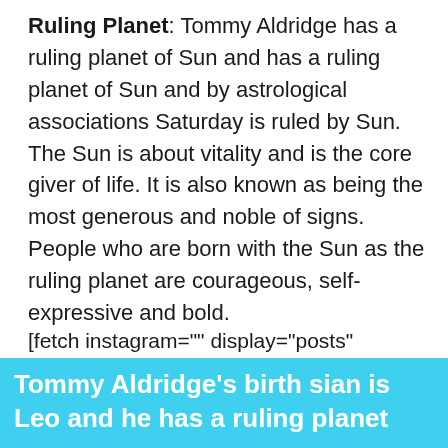Ruling Planet: Tommy Aldridge has a ruling planet of Sun and has a ruling planet of Sun and by astrological associations Saturday is ruled by Sun. The Sun is about vitality and is the core giver of life. It is also known as being the most generous and noble of signs. People who are born with the Sun as the ruling planet are courageous, self-expressive and bold.
[fetch instagram="" display="posts" show="2" ]
Tommy Aldridge's birth sian is Leo and he has a ruling planet